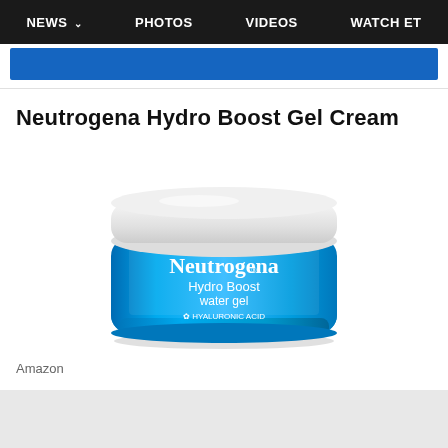NEWS  PHOTOS  VIDEOS  WATCH ET
Neutrogena Hydro Boost Gel Cream
[Figure (photo): Neutrogena Hydro Boost water gel cream jar in blue with white lid. Label reads: Neutrogena, Hydro Boost water gel, Hyaluronic Acid, NET WT. 1.7 OZ. (48 g)]
Amazon